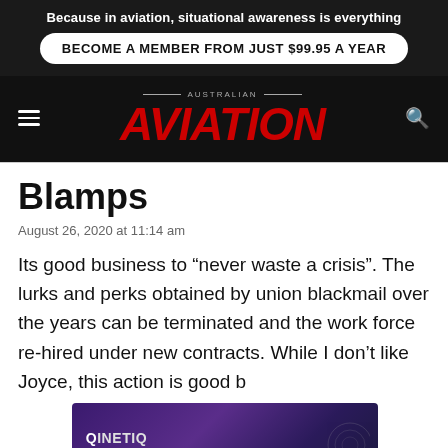Because in aviation, situational awareness is everything
BECOME A MEMBER FROM JUST $99.95 A YEAR
[Figure (logo): Australian Aviation magazine logo with red italic AVIATION text on dark background]
Blamps
August 26, 2020 at 11:14 am
Its good business to “never waste a crisis”. The lurks and perks obtained by union blackmail over the years can be terminated and the work force re-hired under new contracts. While I don’t like Joyce, this action is good business practice.
REPLY
[Figure (other): QinetiQ advertisement banner: Enabling critical UAS technologies]